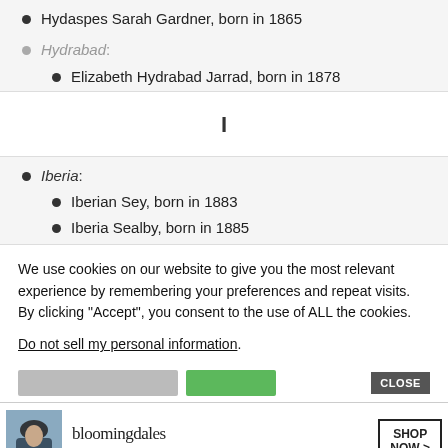Hydaspes Sarah Gardner, born in 1865
Hydrabad:
Elizabeth Hydrabad Jarrad, born in 1878
Iberia:
Iberian Sey, born in 1883
Iberia Sealby, born in 1885
We use cookies on our website to give you the most relevant experience by remembering your preferences and repeat visits. By clicking “Accept”, you consent to the use of ALL the cookies.
Do not sell my personal information.
[Figure (screenshot): Bloomingdale's advertisement banner: logo, 'View Today's Top Deals!', woman in hat, 'SHOP NOW >' button]